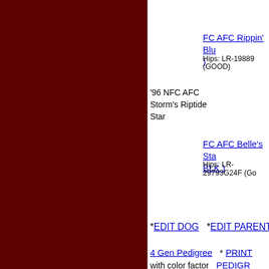[Figure (other): Dark maroon/dark red vertical sidebar on the left portion of the page]
FC AFC Rippin' Blu )
Hips: LR-19889 (GOOD)
'96 NFC AFC Storm's Riptide Star
FC AFC Belle's Sta BLK )
Hips: LR-29793G24F (Go
*EDIT DOG   *EDIT PARENTS
4 Gen Pedigree with color factor
* PRINT PEDIGR